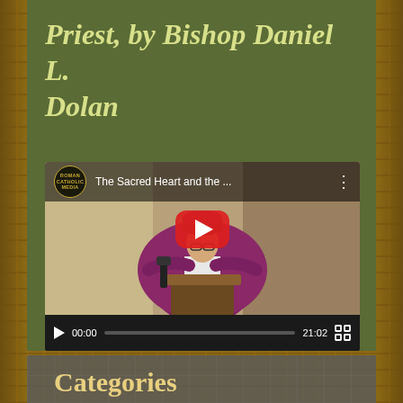Priest, by Bishop Daniel L. Dolan
[Figure (screenshot): YouTube video embed showing a bishop in purple vestments at a lectern. Video title reads 'The Sacred Heart and the ...' with Roman Catholic Media channel logo. Controls show 00:00 / 21:02.]
Categories